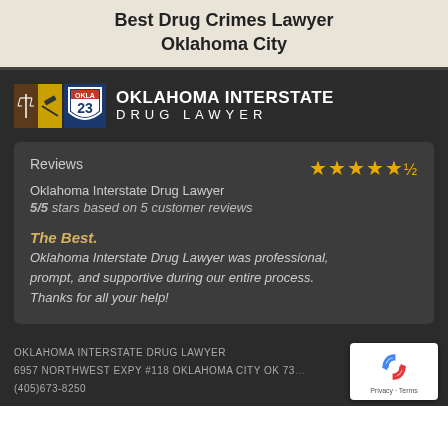Best Drug Crimes Lawyer
Oklahoma City
[Figure (logo): Oklahoma Interstate Drug Lawyer logo with scales of justice icon and interstate highway sign]
Reviews
Oklahoma Interstate Drug Lawyer
5/5 stars based on 5 customer reviews

The Best.
Oklahoma Interstate Drug Lawyer was professional, prompt, and supportive during our entire process. Thanks for all your help!
OKLAHOMA INTERSTATE DRUG LAWYER
6957 NORTHWEST EXPY #118 OKLAHOMA CITY OK 73...
(405)673-8250